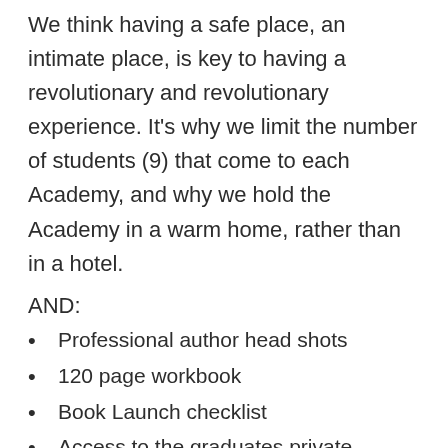We think having a safe place, an intimate place, is key to having a revolutionary and revolutionary experience. It’s why we limit the number of students (9) that come to each Academy, and why we hold the Academy in a warm home, rather than in a hotel.
AND:
Professional author head shots
120 page workbook
Book Launch checklist
Access to the graduates private Facebook writing group
One on one brainstorming time with